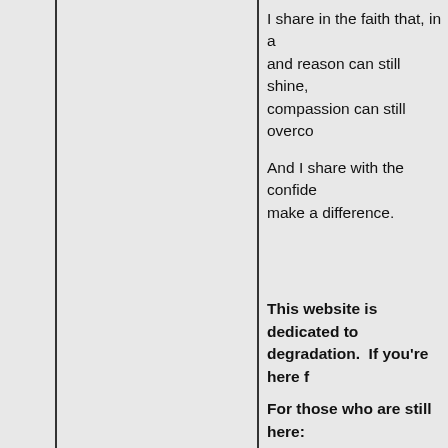I share in the faith that, in a and reason can still shine, compassion can still overco
And I share with the confide make a difference.
This website is dedicated to degradation.  If you're here f
For those who are still here:
You may not agree with wha different experiences than th was right, or is some sort of ask is that you please leave things in a new and different